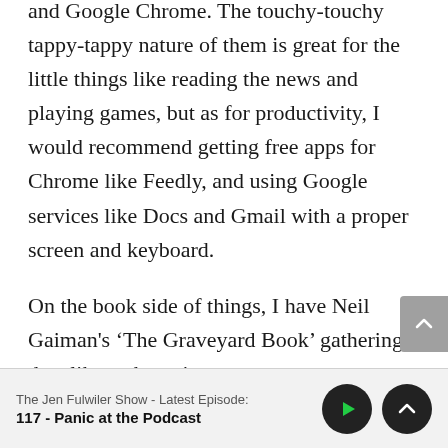and Google Chrome. The touchy-touchy tappy-tappy nature of them is great for the little things like reading the news and playing games, but as for productivity, I would recommend getting free apps for Chrome like Feedly, and using Google services like Docs and Gmail with a proper screen and keyboard.

On the book side of things, I have Neil Gaiman's 'The Graveyard Book' gathering dust like a champion on my
The Jen Fulwiler Show - Latest Episode:
117 - Panic at the Podcast